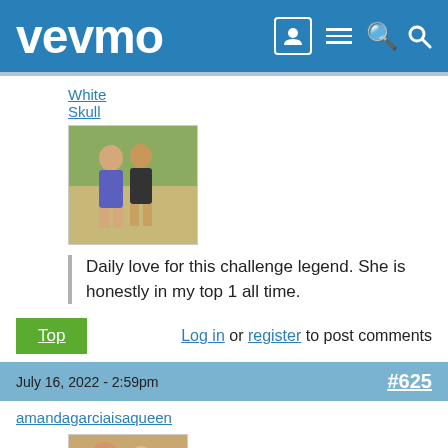vevmo
White Skull
[Figure (photo): Profile photo of two people standing outdoors]
Daily love for this challenge legend. She is honestly in my top 1 all time.
Top  Log in or register to post comments
July 16, 2022 - 2:59pm  #625
amandagarciaisaqueen
[Figure (photo): Profile photo of two women]